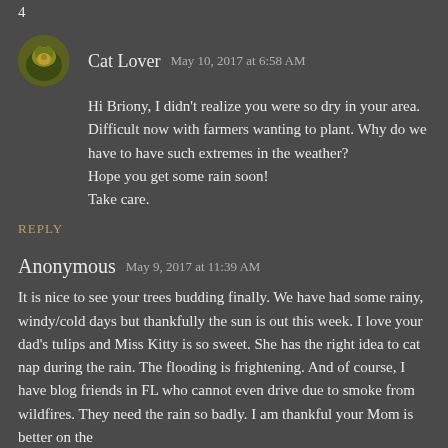Cat Lover  May 10, 2017 at 6:58 AM
Hi Briony, I didn't realize you were so dry in your area. Difficult now with farmers wanting to plant. Why do we have to have such extremes in the weather?
Hope you get some rain soon!
Take care.
REPLY
Anonymous  May 9, 2017 at 11:39 AM
It is nice to see your trees budding finally. We have had some rainy, windy/cold days but thankfully the sun is out this week. I love your dad's tulips and Miss Kitty is so sweet. She has the right idea to cat nap during the rain. The flooding is frightening. And of course, I have blog friends in FL who cannot even drive due to smoke from wildfires. They need the rain so badly. I am thankful your Mom is better on the